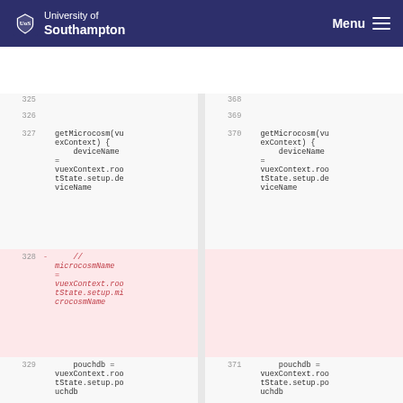University of Southampton | Menu
[Figure (screenshot): Code diff view showing two columns with line numbers 325-330 on left and 368-372 on right. Lines 328 (left) are deleted (red background) showing commented-out microcosmName assignment. Lines 330/372 show partial diff at bottom.]